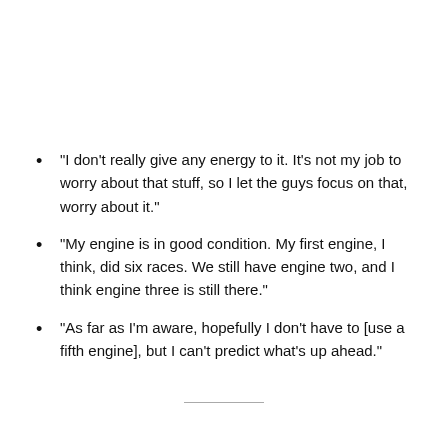“I don’t really give any energy to it. It’s not my job to worry about that stuff, so I let the guys focus on that, worry about it.”
“My engine is in good condition. My first engine, I think, did six races. We still have engine two, and I think engine three is still there.”
“As far as I’m aware, hopefully I don’t have to [use a fifth engine], but I can’t predict what’s up ahead.”